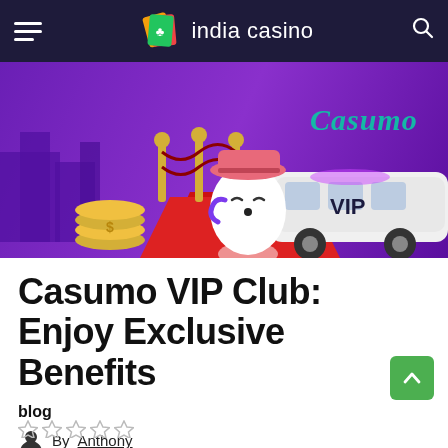india casino
[Figure (illustration): Casumo VIP promotional banner showing a cartoon character wearing a pink hat standing on a red carpet next to a white limousine with 'VIP' text, gold coins, velvet ropes, and the 'Casumo' logo in teal script on a purple/violet background.]
Casumo VIP Club: Enjoy Exclusive Benefits
blog
By Anthony